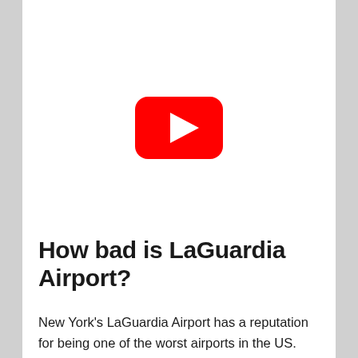[Figure (other): YouTube play button logo — red rounded rectangle with white triangle play icon in center, on white background]
How bad is LaGuardia Airport?
New York's LaGuardia Airport has a reputation for being one of the worst airports in the US. While renovations to the airport's terminals, parking system, and drop-off and pick-up areas are